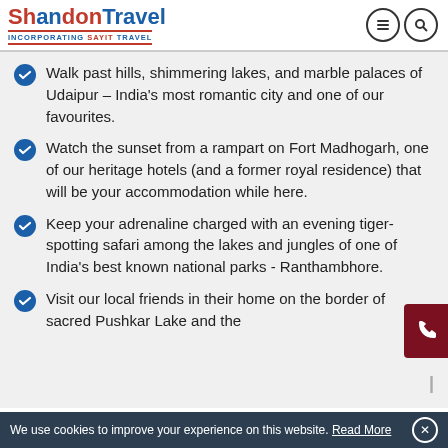Shandon Travel — Incorporating Sayit Travel
Walk past hills, shimmering lakes, and marble palaces of Udaipur – India's most romantic city and one of our favourites.
Watch the sunset from a rampart on Fort Madhogarh, one of our heritage hotels (and a former royal residence) that will be your accommodation while here.
Keep your adrenaline charged with an evening tiger-spotting safari among the lakes and jungles of one of India's best known national parks - Ranthambhore.
Visit our local friends in their home on the border of sacred Pushkar Lake and the
We use cookies to improve your experience on this website. Read More ✕